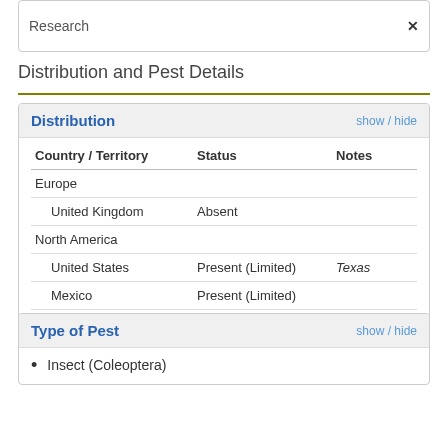Research ✕
Distribution and Pest Details
| Country / Territory | Status | Notes |
| --- | --- | --- |
| Europe |  |  |
| United Kingdom | Absent |  |
| North America |  |  |
| United States | Present (Limited) | Texas |
| Mexico | Present (Limited) |  |
Type of Pest
Insect (Coleoptera)